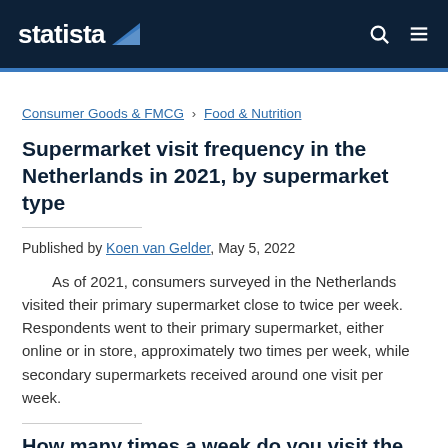statista
Consumer Goods & FMCG › Food & Nutrition
Supermarket visit frequency in the Netherlands in 2021, by supermarket type
Published by Koen van Gelder, May 5, 2022
As of 2021, consumers surveyed in the Netherlands visited their primary supermarket close to twice per week. Respondents went to their primary supermarket, either online or in store, approximately two times per week, while secondary supermarkets received around one visit per week.
How many times a week do you visit the